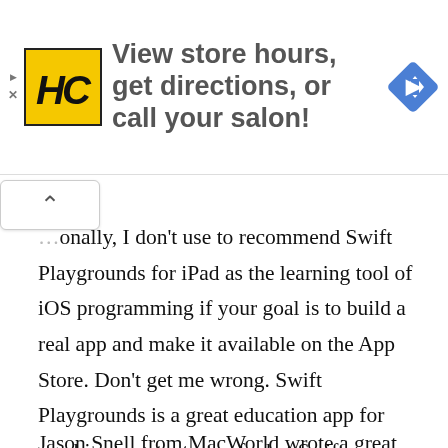[Figure (advertisement): HC salon advertisement banner with yellow HC logo, text 'View store hours, get directions, or call your salon!' and a blue navigation diamond icon]
onally, I don't use to recommend Swift Playgrounds for iPad as the learning tool of iOS programming if your goal is to build a real app and make it available on the App Store. Don't get me wrong. Swift Playgrounds is a great education app for newbies to get a taste of what Swift programming is and learn the basic programming concept. However, it's not the real development tool. Most of the Swift Playgrounds' lessons do not prepare you to build a real world app.
Jason Snell from MacWorld wrote a great piece...